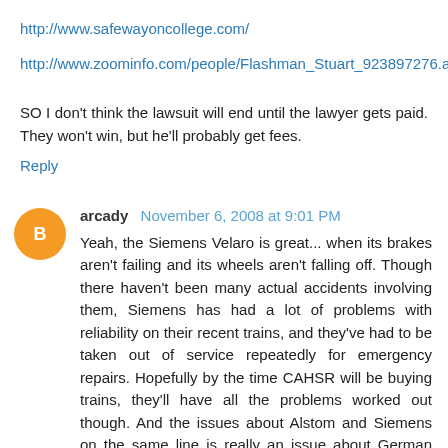http://www.safewayoncollege.com/
http://www.zoominfo.com/people/Flashman_Stuart_923897276.aspx
SO I don't think the lawsuit will end until the lawyer gets paid. They won't win, but he'll probably get fees.
Reply
arcady  November 6, 2008 at 9:01 PM
Yeah, the Siemens Velaro is great... when its brakes aren't failing and its wheels aren't falling off. Though there haven't been many actual accidents involving them, Siemens has had a lot of problems with reliability on their recent trains, and they've had to be taken out of service repeatedly for emergency repairs. Hopefully by the time CAHSR will be buying trains, they'll have all the problems worked out though. And the issues about Alstom and Siemens on the same line is really an issue about German trains versus